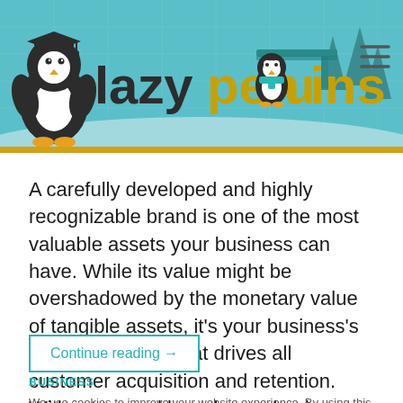[Figure (screenshot): Lazy Penguins website header with penguin logo illustration, site name 'lazy penguins' in dark and gold text, teal winter background scene, hamburger menu icon top right, and yellow accent bar at bottom of header.]
A carefully developed and highly recognizable brand is one of the most valuable assets your business can have. While its value might be overshadowed by the monetary value of tangible assets, it's your business's intangible brand that drives all customer acquisition and retention. Without a good brand, your business will struggle to get good (or…
Continue reading →
BUSINESS
We use cookies to improve your website experience. By using this